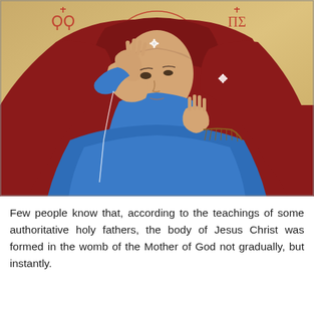[Figure (illustration): Orthodox Christian icon depicting the Virgin Mary (Mother of God/Theotokos) in a red maphorion over a blue garment, with a golden halo outlined in red, raising one hand near her face and another hand open. Georgian or Byzantine-style icon with red inscriptions in the upper corners on a gold background.]
Few people know that, according to the teachings of some authoritative holy fathers, the body of Jesus Christ was formed in the womb of the Mother of God not gradually, but instantly.